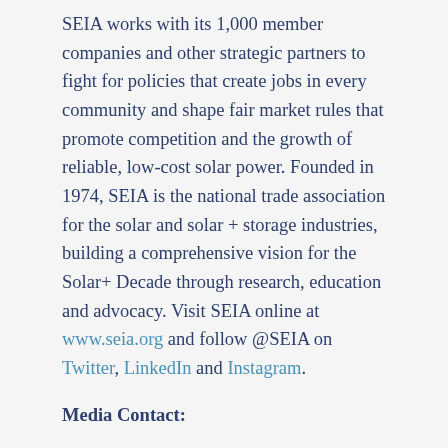SEIA works with its 1,000 member companies and other strategic partners to fight for policies that create jobs in every community and shape fair market rules that promote competition and the growth of reliable, low-cost solar power. Founded in 1974, SEIA is the national trade association for the solar and solar + storage industries, building a comprehensive vision for the Solar+ Decade through research, education and advocacy. Visit SEIA online at www.seia.org and follow @SEIA on Twitter, LinkedIn and Instagram.
Media Contact:
Morgan Lyons, SEIA's Senior Communications Manager, mlyons@seia.org (202) 556-2872